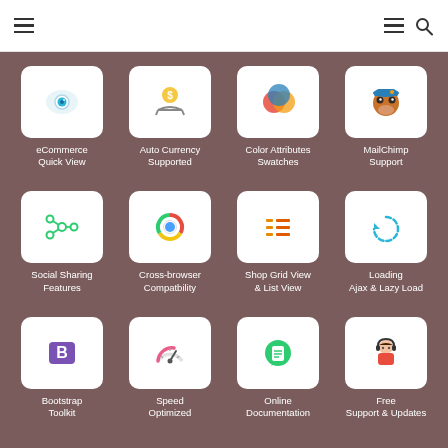Navigation header with hamburger menus and search icon
[Figure (infographic): 4x3 grid of feature icons on brown background. Row 1: eCommerce Quick View (eye icon), Auto Currency Supported (hand with coin), Color Attributes Swatches (overlapping colored circles), MailChimp Support (monkey face). Row 2: Social Sharing Features (share icon), Cross-browser Compatibility (Chrome-like icon), Shop Grid View & List View (list icon), Loading Ajax & Lazy Load (circular arrow). Row 3: Bootstrap Toolkit (Bootstrap B logo), Speed Optimized (speedometer), Online Documentation (document icon), Free Support & Updates (support agent).]